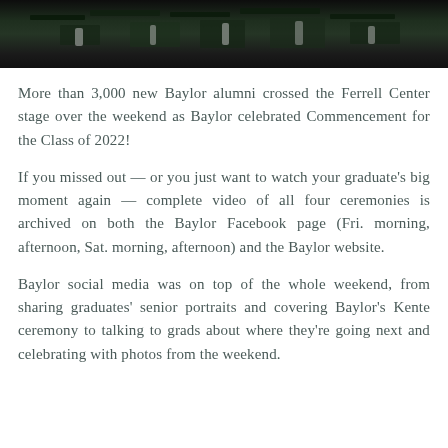[Figure (photo): Photo of graduation caps and gowns, students in green and black regalia at Baylor commencement ceremony]
More than 3,000 new Baylor alumni crossed the Ferrell Center stage over the weekend as Baylor celebrated Commencement for the Class of 2022!
If you missed out — or you just want to watch your graduate's big moment again — complete video of all four ceremonies is archived on both the Baylor Facebook page (Fri. morning, afternoon, Sat. morning, afternoon) and the Baylor website.
Baylor social media was on top of the whole weekend, from sharing graduates' senior portraits and covering Baylor's Kente ceremony to talking to grads about where they're going next and celebrating with photos from the weekend.